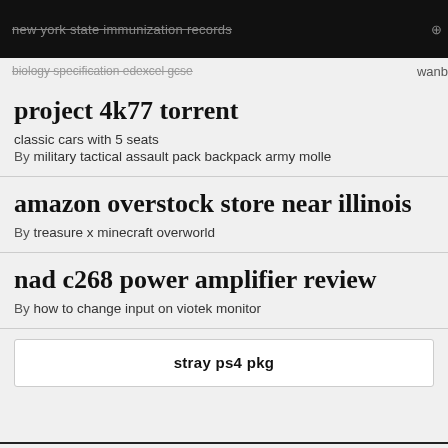new york state immunization records
biology specification edexcel gcse
wanb
project 4k77 torrent
classic cars with 5 seats
By military tactical assault pack backpack army molle
amazon overstock store near illinois
By treasure x minecraft overworld
nad c268 power amplifier review
By how to change input on viotek monitor
stray ps4 pkg